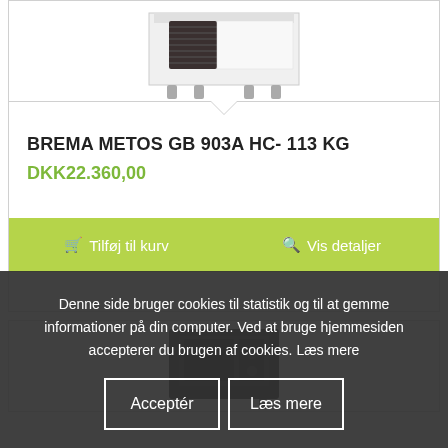[Figure (photo): Partial view of a commercial ice machine (BREMA METOS GB 903A HC) with white metal casing, dark ventilation grille, and stainless steel legs, cropped at the top of the product card.]
BREMA METOS GB 903A HC- 113 KG
DKK22.360,00
🛒 Tilføj til kurv     🔍 Vis detaljer
[Figure (photo): Partial view of a second product — a dark commercial ice machine partially visible at the bottom of the page, underneath the cookie consent overlay.]
Denne side bruger cookies til statistik og til at gemme informationer på din computer. Ved at bruge hjemmesiden accepterer du brugen af cookies. Læs mere
Acceptér   Læs mere